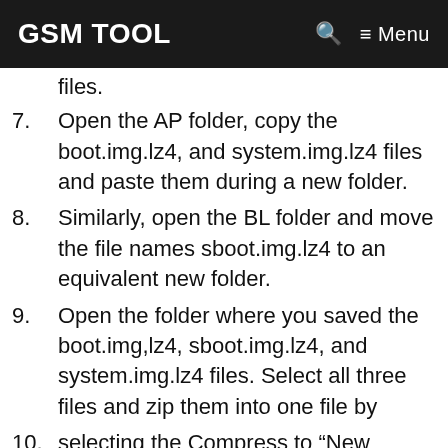GSM TOOL  🔍  ≡ Menu
files.
7. Open the AP folder, copy the boot.img.lz4, and system.img.lz4 files and paste them during a new folder.
8. Similarly, open the BL folder and move the file names sboot.img.lz4 to an equivalent new folder.
9. Open the folder where you saved the boot.img,lz4, sboot.img.lz4, and system.img.lz4 files. Select all three files and zip them into one file by
10. selecting the Compress to “New folder.zip” option from the Windows context menu
11. Now, change the Zip extension of